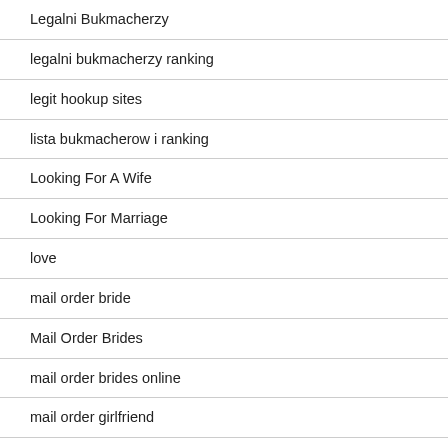Legalni Bukmacherzy
legalni bukmacherzy ranking
legit hookup sites
lista bukmacherow i ranking
Looking For A Wife
Looking For Marriage
love
mail order bride
Mail Order Brides
mail order brides online
mail order girlfriend